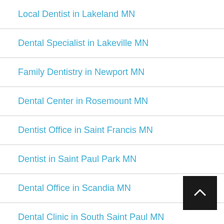Local Dentist in Lakeland MN
Dental Specialist in Lakeville MN
Family Dentistry in Newport MN
Dental Center in Rosemount MN
Dentist Office in Saint Francis MN
Dentist in Saint Paul Park MN
Dental Office in Scandia MN
Dental Clinic in South Saint Paul MN